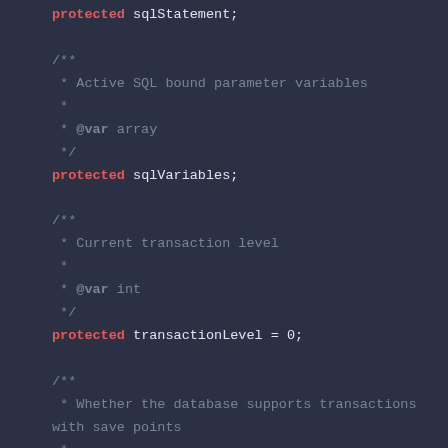protected sqlStatement; (top, cut off)
/**
 * Active SQL bound parameter variables
 *
 * @var array
 */
protected sqlVariables;

/**
 * Current transaction level
 *
 * @var int
 */
protected transactionLevel = 0;

/**
 * Whether the database supports transactions with save points
 *
 * @var bool
 */